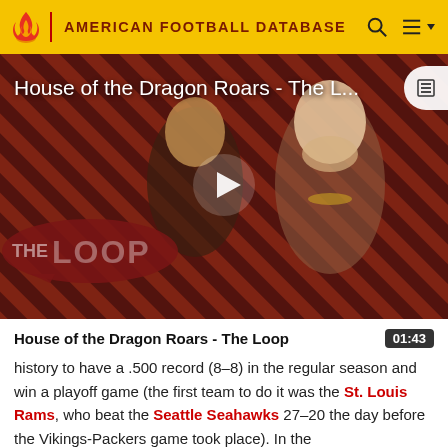AMERICAN FOOTBALL DATABASE
[Figure (screenshot): Video thumbnail for 'House of the Dragon Roars - The Loop' showing two characters from the show against a diagonal striped red and dark background with 'THE LOOP' text and a play button overlay.]
House of the Dragon Roars - The Loop
history to have a .500 record (8–8) in the regular season and win a playoff game (the first team to do it was the St. Louis Rams, who beat the Seattle Seahawks 27–20 the day before the Vikings-Packers game took place). In the